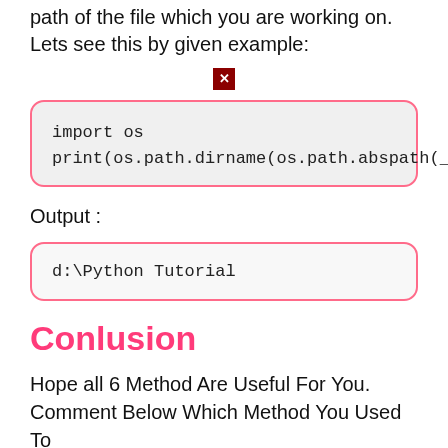path of the file which you are working on. Lets see this by given example:
[Figure (other): Broken image icon (red square with white X)]
import os
print(os.path.dirname(os.path.abspath(__file__)))
Output :
d:\Python Tutorial
Conlusion
Hope all 6 Method Are Useful For You.
Comment Below Which Method You Used To